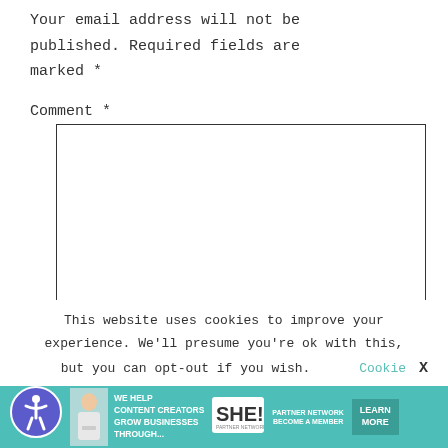Your email address will not be published. Required fields are marked *
Comment *
[Figure (screenshot): Empty comment text area input box with black border]
This website uses cookies to improve your experience. We'll presume you're ok with this, but you can opt-out if you wish.  Cookie  X
[Figure (infographic): SHE Partner Network advertisement banner: WE HELP CONTENT CREATORS GROW BUSINESSES THROUGH... with LEARN MORE button]